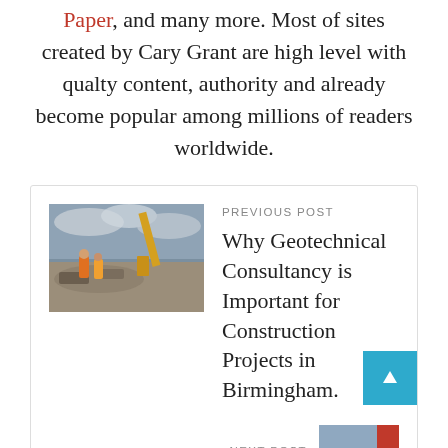Paper, and many more. Most of sites created by Cary Grant are high level with qualty content, authority and already become popular among millions of readers worldwide.
PREVIOUS POST
[Figure (photo): Construction site photo showing workers with excavator machinery]
Why Geotechnical Consultancy is Important for Construction Projects in Birmingham.
NEXT POST
[Figure (photo): Next post thumbnail image (partially visible)]